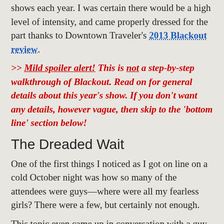shows each year. I was certain there would be a high level of intensity, and came properly dressed for the part thanks to Downtown Traveler's 2013 Blackout review.
>> Mild spoiler alert! This is not a step-by-step walkthrough of Blackout. Read on for general details about this year's show. If you don't want any details, however vague, then skip to the 'bottom line' section below!
The Dreaded Wait
One of the first things I noticed as I got on line on a cold October night was how so many of the attendees were guys—where were all my fearless girls? There were a few, but certainly not enough.
This topic even came up in conversation with a guy